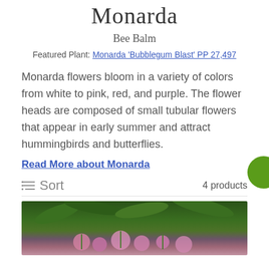Monarda
Bee Balm
Featured Plant: Monarda 'Bubblegum Blast' PP 27,497
Monarda flowers bloom in a variety of colors from white to pink, red, and purple. The flower heads are composed of small tubular flowers that appear in early summer and attract hummingbirds and butterflies.
Read More about Monarda
Sort   4 products
[Figure (photo): Photo of Monarda flowers (pink/purple blooms) among green foliage, partially cropped at bottom of page]